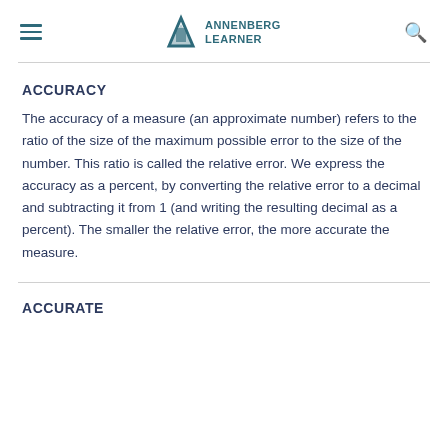ANNENBERG LEARNER
ACCURACY
The accuracy of a measure (an approximate number) refers to the ratio of the size of the maximum possible error to the size of the number. This ratio is called the relative error. We express the accuracy as a percent, by converting the relative error to a decimal and subtracting it from 1 (and writing the resulting decimal as a percent). The smaller the relative error, the more accurate the measure.
ACCURATE